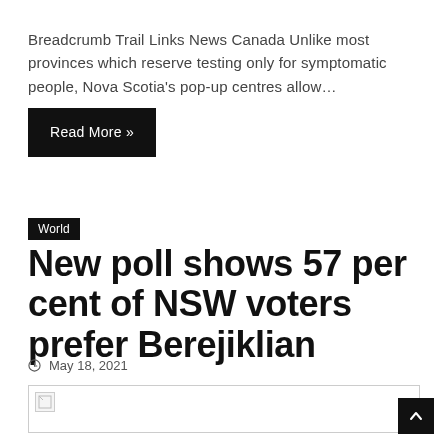Breadcrumb Trail Links News Canada Unlike most provinces which reserve testing only for symptomatic people, Nova Scotia's pop-up centres allow…
Read More »
World
New poll shows 57 per cent of NSW voters prefer Berejiklian
May 18, 2021
[Figure (photo): Broken image placeholder for article thumbnail]